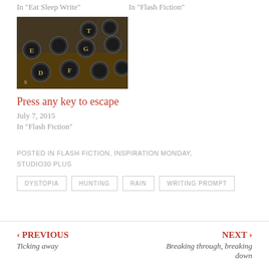In "Eat Sleep Write"
In "Flash Fiction"
[Figure (photo): Close-up photo of vintage typewriter keys including letters E, T, D, F, G and others on a golden/brown background]
Press any key to escape
July 7, 2015
In "Flash Fiction"
POSTED IN FLASH FICTION, INSPIRATION MONDAY, STUDIO30 PLUS
DYSTOPIA
HUNTING
RAIN
WRITING PROMPT
‹ PREVIOUS Ticking away | NEXT › Breaking through, breaking down